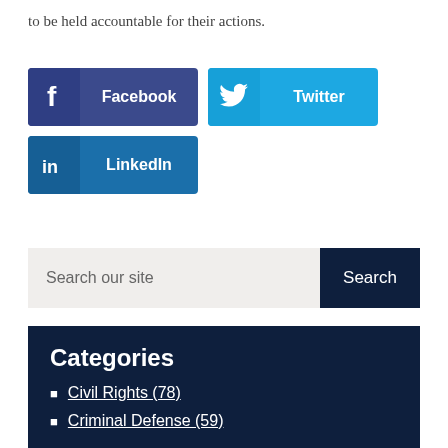to be held accountable for their actions.
[Figure (other): Social sharing buttons: Facebook (dark blue), Twitter (cyan blue), LinkedIn (medium blue)]
Search our site
Categories
Civil Rights (78)
Criminal Defense (59)